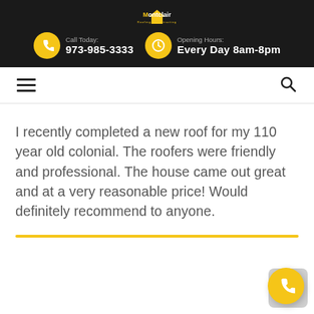Montclair Roofing & Contracting | Call Today: 973-985-3333 | Opening Hours: Every Day 8am-8pm
[Figure (logo): Montclair Roofing & Contracting logo with yellow house icon]
I recently completed a new roof for my 110 year old colonial. The roofers were friendly and professional. The house came out great and at a very reasonable price! Would definitely recommend to anyone.